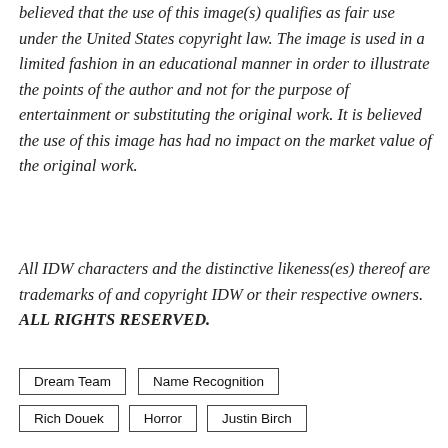believed that the use of this image(s) qualifies as fair use under the United States copyright law. The image is used in a limited fashion in an educational manner in order to illustrate the points of the author and not for the purpose of entertainment or substituting the original work. It is believed the use of this image has had no impact on the market value of the original work.
All IDW characters and the distinctive likeness(es) thereof are trademarks of and copyright IDW or their respective owners. ALL RIGHTS RESERVED.
Dream Team
Name Recognition
Rich Douek
Horror
Justin Birch